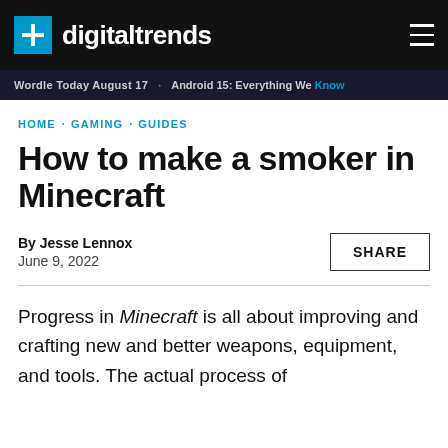digitaltrends
Wordle Today August 17 · Android 15: Everything We Know
HOME · GAMING · GUIDES
How to make a smoker in Minecraft
By Jesse Lennox
June 9, 2022
SHARE
Progress in Minecraft is all about improving and crafting new and better weapons, equipment, and tools. The actual process of